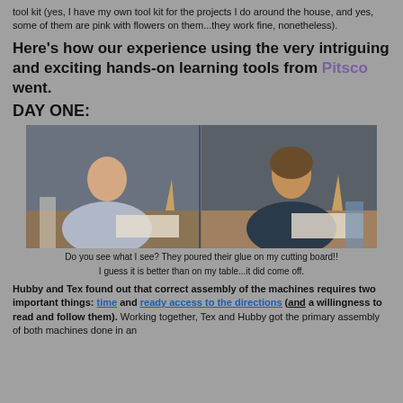tool kit (yes, I have my own tool kit for the projects I do around the house, and yes, some of them are pink with flowers on them...they work fine, nonetheless).
Here's how our experience using the very intriguing and exciting hands-on learning tools from Pitsco went.
DAY ONE:
[Figure (photo): Two people sitting at a dining table working on assembly projects with wooden cone-shaped pieces and papers/directions spread on the table.]
Do you see what I see? They poured their glue on my cutting board!!
I guess it is better than on my table...it did come off.
Hubby and Tex found out that correct assembly of the machines requires two important things: time and ready access to the directions (and a willingness to read and follow them). Working together, Tex and Hubby got the primary assembly of both machines done in an